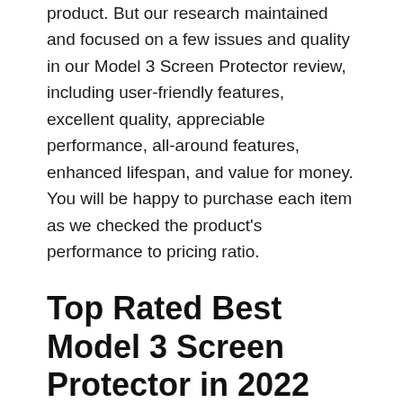product. But our research maintained and focused on a few issues and quality in our Model 3 Screen Protector review, including user-friendly features, excellent quality, appreciable performance, all-around features, enhanced lifespan, and value for money. You will be happy to purchase each item as we checked the product's performance to pricing ratio.
Top Rated Best Model 3 Screen Protector in 2022
You can get numerous models of similar products dedicated to multiple users like the Model 3 Screen Protector. Our selection of top 10 Best Model 3 Screen Protector are made after